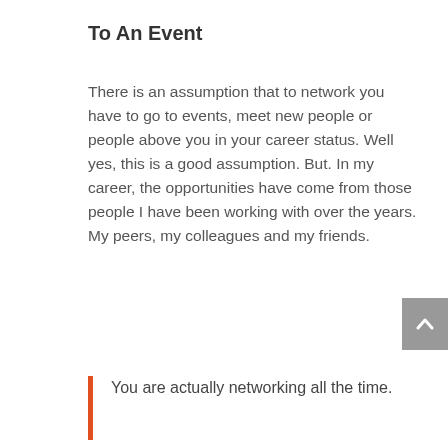To An Event
There is an assumption that to network you have to go to events, meet new people or people above you in your career status. Well yes, this is a good assumption. But. In my career, the opportunities have come from those people I have been working with over the years. My peers, my colleagues and my friends.
You are actually networking all the time.